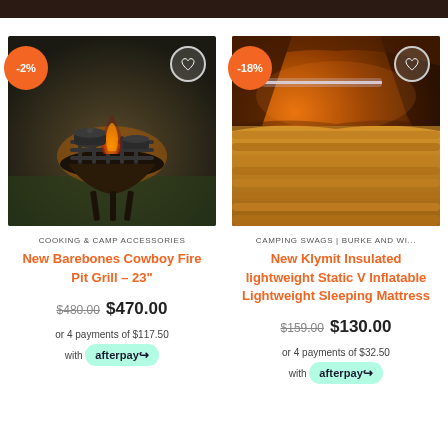[Figure (photo): Campfire grill with cast iron cookware on a fire pit outdoors, dark moody background with green grass. Discount badge showing -2%. Heart/wishlist icon top right.]
COOKING & CAMP ACCESSORIES
New Barebones Cowboy Fire Pit Grill – 23"
$480.00  $470.00
or 4 payments of $117.50
with afterpay
[Figure (photo): Orange inflatable sleeping mat inside a tent with warm orange lighting, viewed from inside tent looking at the sleeping surface. Discount badge showing -18%. Heart/wishlist icon top right.]
CAMPING SWAGS | BURKE AND WI...
New Klymit Insulated lightweight Static V Inflatable Lightweight Sleeping Mattress
$159.00  $130.00
or 4 payments of $32.50
with afterpay